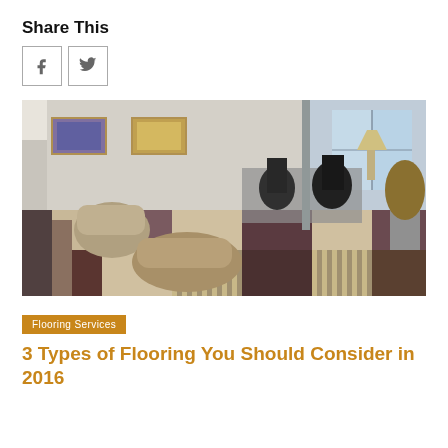Share This
[Figure (other): Social share buttons: Facebook (f) and Twitter (bird icon), each in a square border]
[Figure (photo): Office interior with patterned carpet tiles in beige, purple, and brown checkered pattern. Lounge chairs on left, office desk chairs in background, framed pictures on walls, plant in corner.]
Flooring Services
3 Types of Flooring You Should Consider in 2016